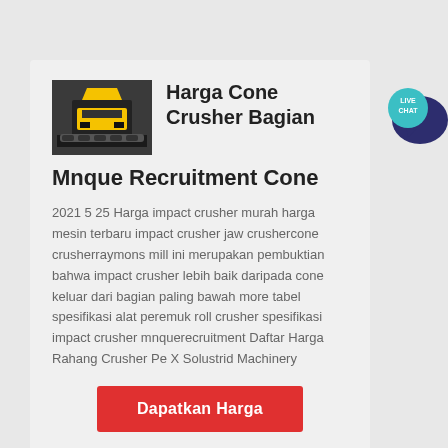[Figure (photo): Photo of a yellow and black cone crusher machine]
Harga Cone Crusher Bagian Mnque Recruitment Cone
2021 5 25 Harga impact crusher murah harga mesin terbaru impact crusher jaw crushercone crusherraymons mill ini merupakan pembuktian bahwa impact crusher lebih baik daripada cone keluar dari bagian paling bawah more tabel spesifikasi alat peremuk roll crusher spesifikasi impact crusher mnquerecruitment Daftar Harga Rahang Crusher Pe X Solustrid Machinery
Dapatkan Harga
[Figure (illustration): Live Chat speech bubble icon with dark blue and teal colors]